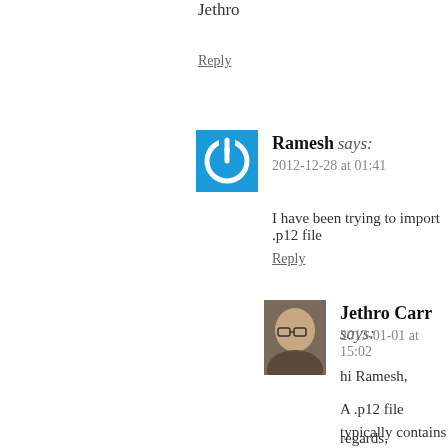Jethro
Reply
Ramesh says:
2012-12-28 at 01:41
I have been trying to import .p12 file
Reply
Jethro Carr says:
2013-01-01 at 15:02
hi Ramesh,
A .p12 file typically contains but I've never seen it used to suspect you're trying to impo
regards,